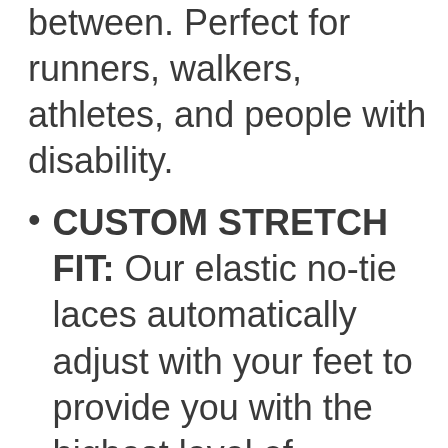between. Perfect for runners, walkers, athletes, and people with disability.
CUSTOM STRETCH FIT: Our elastic no-tie laces automatically adjust with your feet to provide you with the highest level of comfort.
LACES LOCKED IN PLACE: Xpand Lacing System utilizes our patented Lace Anchor locks to firmly secure our elastic laces. No need to adjust after your initial installation, our Lace Anchor are specially designed to hold your desired lace tension